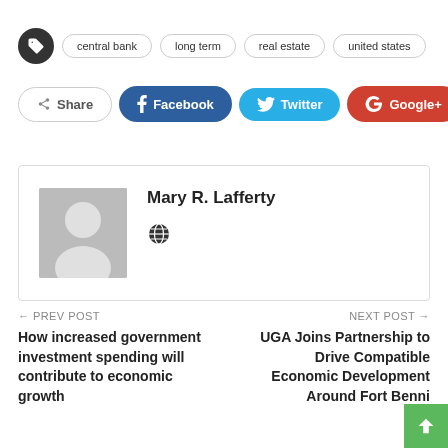central bank
long term
real estate
united states
Share | Facebook | Twitter | Google+
Mary R. Lafferty
PREV POST
How increased government investment spending will contribute to economic growth
NEXT POST
UGA Joins Partnership to Drive Compatible Economic Development Around Fort Benni…